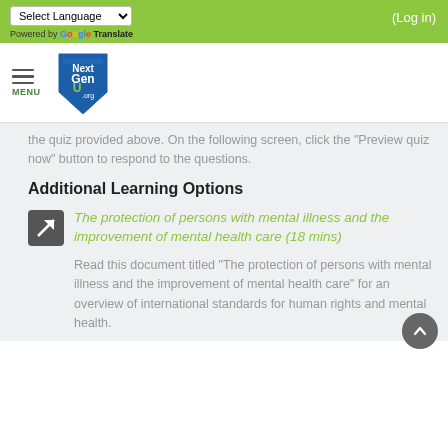Select Language | Powered by Google Translate | (Log in)
[Figure (logo): NextGenU.org shield logo with hamburger menu and MENU label]
the quiz provided above. On the following screen, click the "Preview quiz now" button to respond to the questions.
Additional Learning Options
The protection of persons with mental illness and the improvement of mental health care (18 mins)
Read this document titled "The protection of persons with mental illness and the improvement of mental health care" for an overview of international standards for human rights and mental health.